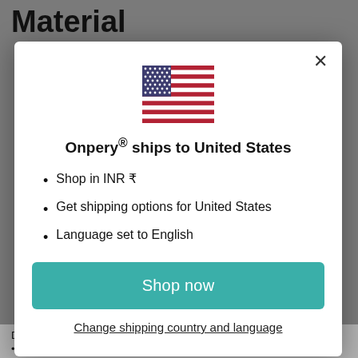Material
[Figure (illustration): US flag emoji / icon centered in modal]
Onpery® ships to United States
Shop in INR ₹
Get shipping options for United States
Language set to English
Shop now
Change shipping country and language
Different Shapes and Sizes used in Medical Industries.
• ISO 45001:2018, ISO 14001:2015 & ISO 9001:2015: The